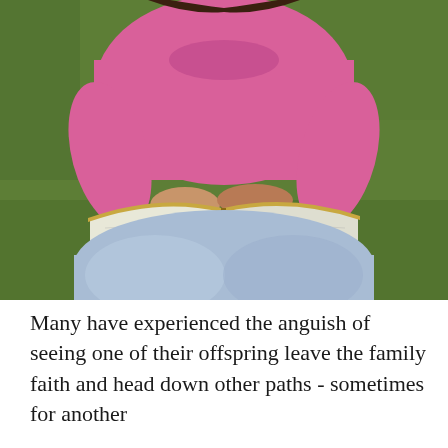[Figure (photo): A person wearing a pink long-sleeve top and light blue jeans sitting cross-legged on grass, holding an open book (appears to be a Bible) on their lap, reading it outdoors.]
Many have experienced the anguish of seeing one of their offspring leave the family faith and head down other paths - sometimes for another